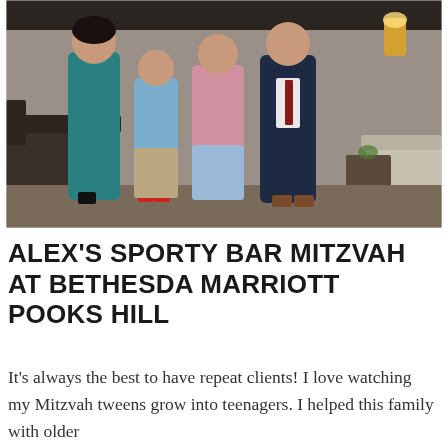[Figure (photo): A family of four posing together in an indoor lounge setting. A woman in a teal dress stands on the left, two boys in the middle (one in a blue patterned shirt with red shoes, one in a pink shirt with light blue pants), and a man in a dark navy suit on the right. Warm lighting and a dark leather couch visible in the background.]
ALEX'S SPORTY BAR MITZVAH AT BETHESDA MARRIOTT POOKS HILL
It's always the best to have repeat clients! I love watching my Mitzvah tweens grow into teenagers. I helped this family with older